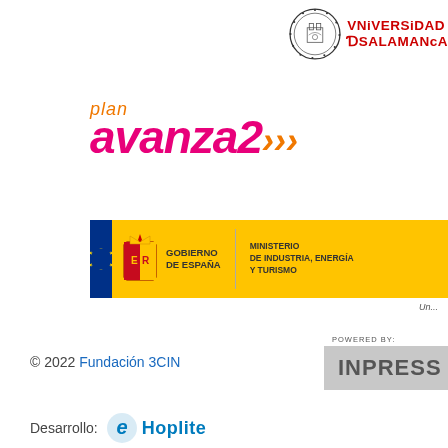[Figure (logo): Universidad de Salamanca seal and text logo, top right corner]
[Figure (logo): Plan Avanza2 logo with orange 'plan' text and pink 'avanza2' with orange arrows]
[Figure (logo): Government banner with Spanish flag bar, coat of arms, Gobierno de España, Ministerio de Industria Energia y Turismo, and EU flag]
Un
© 2022 Fundación 3CIN
[Figure (logo): INPRESS logo with leaf icon, gray background, POWERED BY label]
Desarrollo:
[Figure (logo): e Hoplite logo with blue 'e' and Hoplite text]